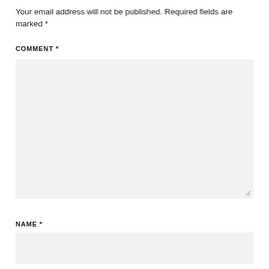Your email address will not be published. Required fields are marked *
COMMENT *
[Figure (screenshot): Empty comment textarea input box with light gray background and resize handle at bottom-right corner]
NAME *
[Figure (screenshot): Empty name text input box with light gray background]